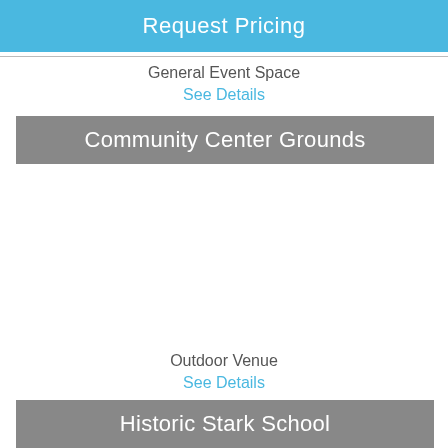Request Pricing
General Event Space
See Details
Community Center Grounds
Outdoor Venue
See Details
Historic Stark School